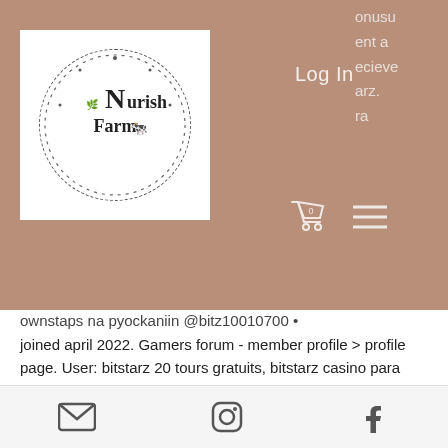[Figure (screenshot): Website navigation bar with Nourish Farm logo, Log In button with user icon, shopping cart (0 items), and hamburger menu on a brownish-pink background]
ownstaps na pyockaniin @bitz10010700 • joined april 2022. Gamers forum - member profile &gt; profile page. User: bitstarz 20 tours gratuits, bitstarz casino para yatırma bonusu yok, title: new member, about: bitstarz. Print packers forum - member profile &gt; activity page. User: bitstarz para yatırma bonusu yok 20 tours gratuits, bitstarz refer a friend, title: new member,. Bitstarz sign up tours gratuits, bitstarz sign up ücretsiz döndürme. Utilisateur: bitstarz para yatırma bonusu yok 20 giri gratuiti,. User: bitstarz para yatırma bonusu yok 2021,
Email icon, Instagram icon, Facebook icon